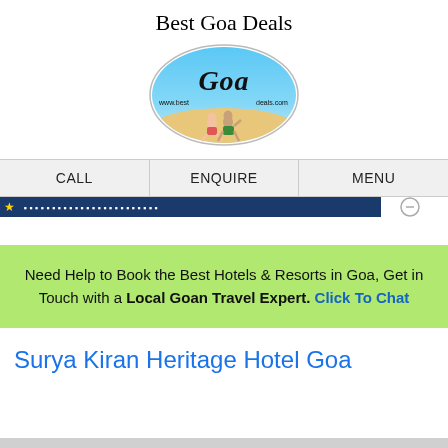Best Goa Deals
[Figure (logo): Oval blue logo with cursive 'Goa' text, 'www.best' and 'deals.com' text, and two beach tourists sitting on sand]
CALL    ENQUIRE    MENU
Need Help to Book the Best Hotels & Resorts in Goa, Get in Touch with a Local Goan Travel Expert. Click To Chat
Surya Kiran Heritage Hotel Goa